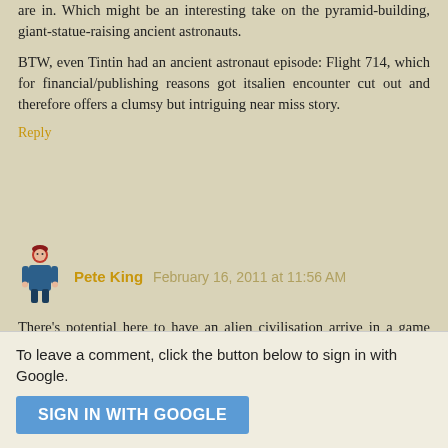are in. Which might be an interesting take on the pyramid-building, giant-statue-raising ancient astronauts.
BTW, even Tintin had an ancient astronaut episode: Flight 714, which for financial/publishing reasons got itsalien encounter cut out and therefore offers a clumsy but intriguing near miss story.
Reply
Pete King  February 16, 2011 at 11:56 AM
There's potential here to have an alien civilisation arrive in a game world that has already has it's gods. The aliens proclaim themselves to be the real gods and the conflict begins...
Reply
To leave a comment, click the button below to sign in with Google.
SIGN IN WITH GOOGLE